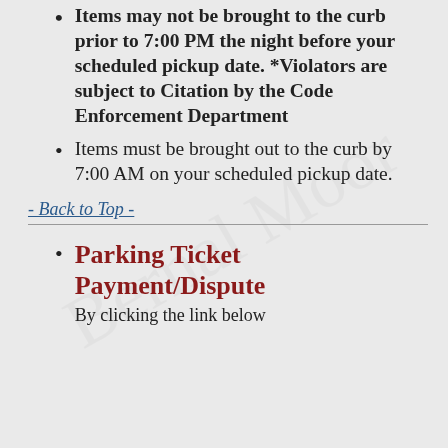Items may not be brought to the curb prior to 7:00 PM the night before your scheduled pickup date. *Violators are subject to Citation by the Code Enforcement Department
Items must be brought out to the curb by 7:00 AM on your scheduled pickup date.
- Back to Top -
Parking Ticket Payment/Dispute
By clicking the link below